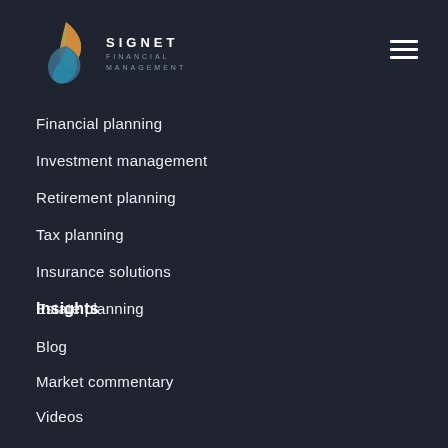[Figure (logo): Signet Financial Management logo with stylized leaf/flame shape in gold/yellow and blue/teal gradient, and text SIGNET FINANCIAL MANAGEMENT]
Financial planning
Investment management
Retirement planning
Tax planning
Insurance solutions
Estate planning
Insights
Blog
Market commentary
Videos